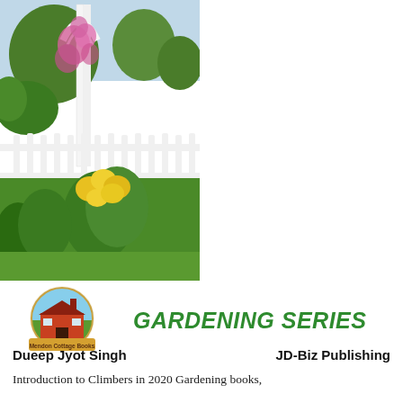[Figure (photo): Photo collage of garden scenes: left large photo shows white picket fence with climbing flowers (pink and yellow), white garden arbor, green trees; top right photo shows ivy-covered building wall with a window; bottom right photo shows building heavily covered in ivy/climbing plants with windows visible and green lawn]
[Figure (logo): Mendon Cottage Books logo: circular badge with orange sunset rays, red barn/cottage building, text 'Mendon Cottage Books' on banner]
GARDENING SERIES
Dueep Jyot Singh                           JD-Biz Publishing
Introduction to Climbers in 2020 Gardening books,